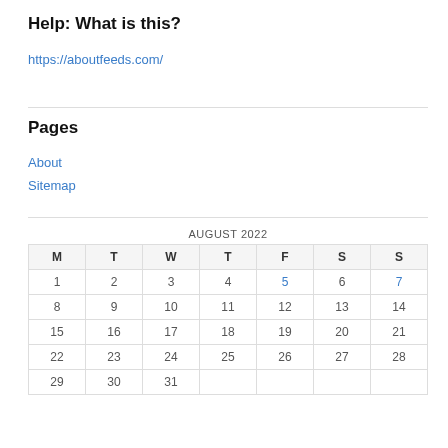Help: What is this?
https://aboutfeeds.com/
Pages
About
Sitemap
| M | T | W | T | F | S | S |
| --- | --- | --- | --- | --- | --- | --- |
| 1 | 2 | 3 | 4 | 5 | 6 | 7 |
| 8 | 9 | 10 | 11 | 12 | 13 | 14 |
| 15 | 16 | 17 | 18 | 19 | 20 | 21 |
| 22 | 23 | 24 | 25 | 26 | 27 | 28 |
| 29 | 30 | 31 |  |  |  |  |